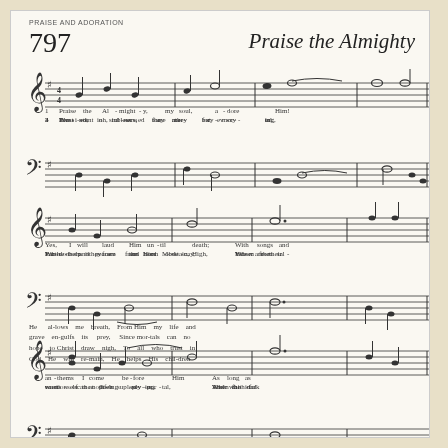PRAISE AND ADORATION
797   Praise the Almighty
[Figure (illustration): Sheet music for hymn 'Praise the Almighty' #797, showing four staves of musical notation in G major (one sharp) with treble and bass clef. Four verses of lyrics appear beneath the musical staves.]
1 Praise the Al-might-y, my soul, a-dore Him!
2 Trust not in rul-ers; they are but mor-tal;
3 Bless-ed, oh, bless-ed are they for-ev-er
4 Pen-i-tent sin-ners, for mer-cy cry-ing,
Yes, I will laud Him un-til death; With songs and
Earth-born they are and soon de-cay, Vain are their
Whose help is from the Lord Most High, Whom from sal-
Par-don and peace from Him ob-tain, Ev-er the
an-thems I come be-fore Him As long as
coun-sels at life's last por-tal, When the dark
va-tion can noth-ing sev-er, And who in
wants of the poor sup-ply-ing, Their faith-ful
He al-lows me breath, From Him my life and
grave en-gulfs its prey, Since mor-tals can no
hope to Christ draw nigh, To all who trust in
God He will re-main, He helps His chil-dren